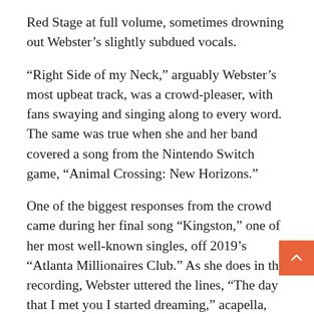Red Stage at full volume, sometimes drowning out Webster’s slightly subdued vocals.
“Right Side of my Neck,” arguably Webster’s most upbeat track, was a crowd-pleaser, with fans swaying and singing along to every word. The same was true when she and her band covered a song from the Nintendo Switch game, “Animal Crossing: New Horizons.”
One of the biggest responses from the crowd came during her final song “Kingston,” one of her most well-known singles, off 2019’s “Atlanta Millionaires Club.” As she does in the recording, Webster uttered the lines, “The day that I met you I started dreaming,” acapella, followed by her band kicking in. Live, the drop h even harder, as fans cheered — moved by the subtle